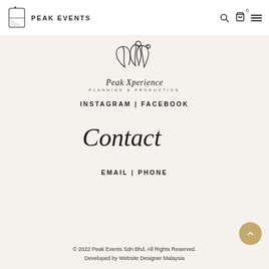PEAK EVENTS
[Figure (logo): Peak Xperience Planning & Production logo with floral line art illustration]
INSTAGRAM | FACEBOOK
[Figure (illustration): Contact written in cursive/script handwriting style]
EMAIL | PHONE
© 2022 Peak Events Sdn Bhd. All Rights Reserved. Developed by Website Designer Malaysia